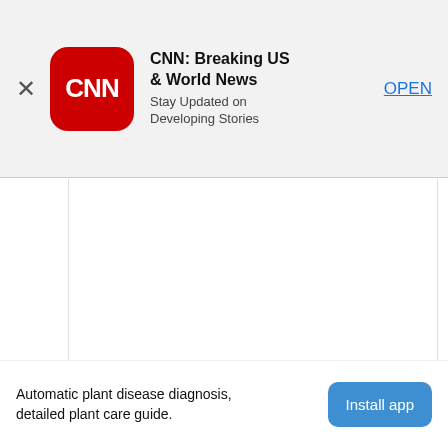[Figure (screenshot): CNN app advertisement banner with CNN logo (white CNN text on red rounded square), app title 'CNN: Breaking US & World News', subtitle 'Stay Updated on Developing Stories', close X button, and blue OPEN link]
CNN: Breaking US & World News
Stay Updated on Developing Stories
OPEN
Automatic plant disease diagnosis, detailed plant care guide.
Install app